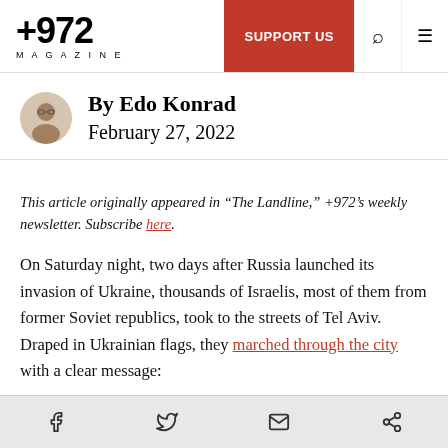+972 MAGAZINE | SUPPORT US
By Edo Konrad
February 27, 2022
This article originally appeared in “The Landline,” +972’s weekly newsletter. Subscribe here.
On Saturday night, two days after Russia launched its invasion of Ukraine, thousands of Israelis, most of them from former Soviet republics, took to the streets of Tel Aviv. Draped in Ukrainian flags, they marched through the city with a clear message:
facebook twitter email share